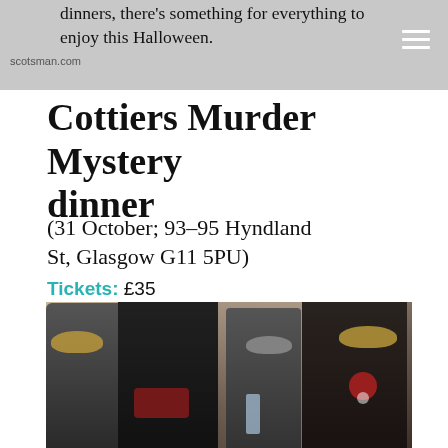dinners, there's something for everything to enjoy this Halloween.
scotsman.com
Cottiers Murder Mystery dinner
(31 October; 93-95 Hyndland St, Glasgow G11 5PU)
Tickets: £35
[Figure (photo): Four people dressed in Halloween/masquerade costumes and masks posing together at what appears to be an event or dinner]